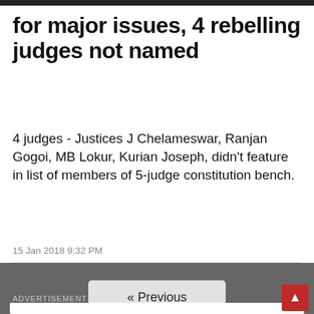5 SC constitution bench for major issues, 4 rebelling judges not named
4 judges - Justices J Chelameswar, Ranjan Gogoi, MB Lokur, Kurian Joseph, didn't feature in list of members of 5-judge constitution bench.
15 Jan 2018 9:32 PM
« Previous
1 of 1
ADVERTISEMENT